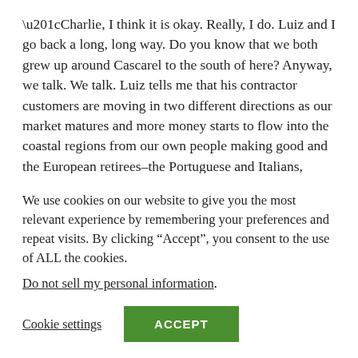“Charlie, I think it is okay. Really, I do. Luiz and I go back a long, long way. Do you know that we both grew up around Cascarel to the south of here? Anyway, we talk. We talk. Luiz tells me that his contractor customers are moving in two different directions as our market matures and more money starts to flow into the coastal regions from our own people making good and the European retirees–the Portuguese and Italians, mainly. One group is steadily moving up market, as is Luiz. They tend to build
We use cookies on our website to give you the most relevant experience by remembering your preferences and repeat visits. By clicking “Accept”, you consent to the use of ALL the cookies.
Do not sell my personal information.
Cookie settings
ACCEPT